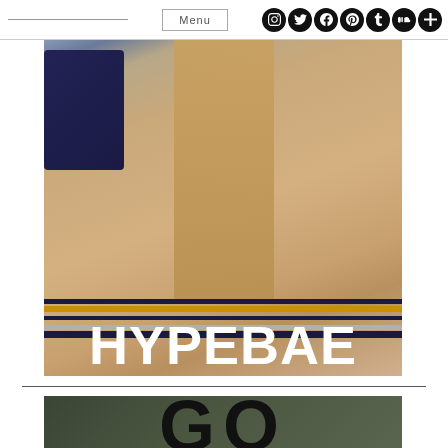Menu | Social icons: Instagram, Twitter, Facebook, Pinterest, Tumblr, SoundCloud, Plus
[Figure (photo): Fashion photo showing a person wearing a camel/tan coat over a navy pleated skirt with gold and navy stripes at the hem. A navy crossbody bag is visible. The word HYPEBAE is overlaid in large white bold text at the bottom of the image.]
[Figure (photo): Partial image of a second article/post showing a dark background with large black bold letters 'GO' partially visible at the bottom.]